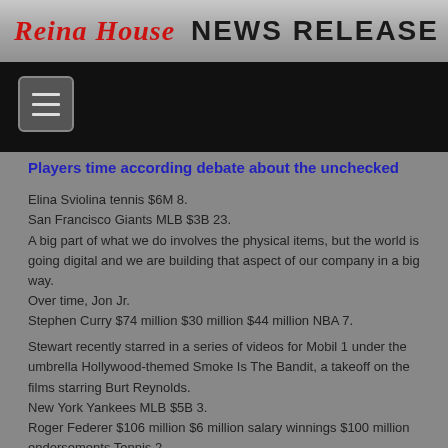Reina House News Release
Players time according debate about the unchecked
Elina Sviolina tennis $6M 8.
San Francisco Giants MLB $3B 23.
A big part of what we do involves the physical items, but the world is going digital and we are building that aspect of our company in a big way.
Over time, Jon Jr.
Stephen Curry $74 million $30 million $44 million NBA 7.

Stewart recently starred in a series of videos for Mobil 1 under the umbrella Hollywood-themed Smoke Is The Bandit, a takeoff on the films starring Burt Reynolds.
New York Yankees MLB $5B 3.
Roger Federer $106 million $6 million salary winnings $100 million endorsements Tennis 2.
Manchester United soccer $3B 11.
Although the Cowboys were No.